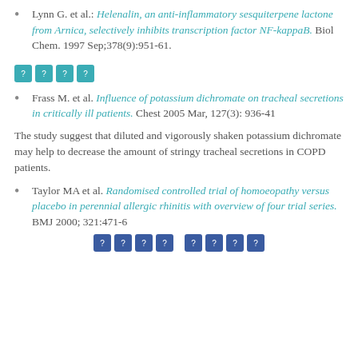Lynn G. et al.: Helenalin, an anti-inflammatory sesquiterpene lactone from Arnica, selectively inhibits transcription factor NF-kappaB. Biol Chem. 1997 Sep;378(9):951-61.
[Figure (other): Four teal icon boxes with question mark symbols indicating a section divider]
Frass M. et al. Influence of potassium dichromate on tracheal secretions in critically ill patients. Chest 2005 Mar, 127(3): 936-41
The study suggest that diluted and vigorously shaken potassium dichromate may help to decrease the amount of stringy tracheal secretions in COPD patients.
Taylor MA et al. Randomised controlled trial of homoeopathy versus placebo in perennial allergic rhinitis with overview of four trial series. BMJ 2000; 321:471-6
[Figure (other): Two groups of dark blue icon boxes with question mark symbols at the bottom of the page]